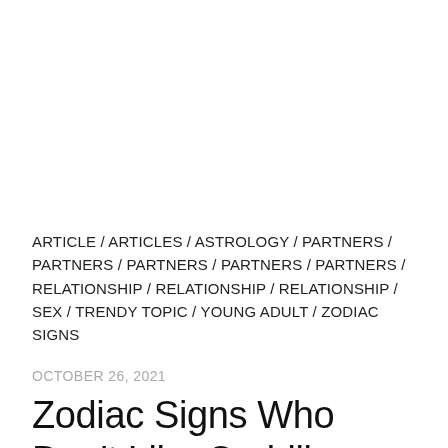ARTICLE / ARTICLES / ASTROLOGY / PARTNERS / PARTNERS / PARTNERS / PARTNERS / PARTNERS / RELATIONSHIP / RELATIONSHIP / RELATIONSHIP / SEX / TRENDY TOPIC / YOUNG ADULT / ZODIAC SIGNS
OCTOBER 26, 2021
Zodiac Signs Who Don't Like Cuddling, Know Here!!